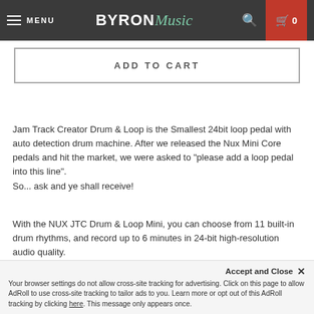MENU | BYRON Music | Search | Cart 0
ADD TO CART
Jam Track Creator Drum & Loop is the Smallest 24bit loop pedal with auto detection drum machine. After we released the Nux Mini Core pedals and hit the market, we were asked to "please add a loop pedal into this line". So... ask and ye shall receive!
With the NUX JTC Drum & Loop Mini, you can choose from 11 built-in drum rhythms, and record up to 6 minutes in 24-bit high-resolution audio quality.
Features
Accept and Close ✕ Your browser settings do not allow cross-site tracking for advertising. Click on this page to allow AdRoll to use cross-site tracking to tailor ads to you. Learn more or opt out of this AdRoll tracking by clicking here. This message only appears once.